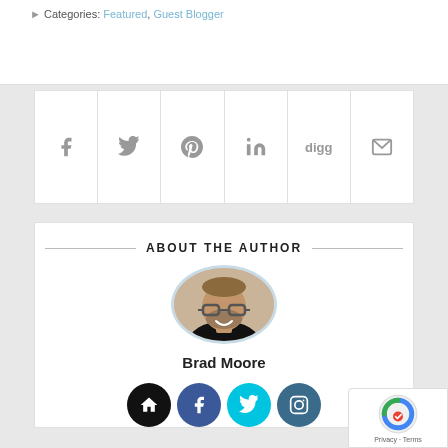Categories: Featured, Guest Blogger
[Figure (infographic): Social share bar with icons: Facebook (f), Twitter (bird), Pinterest (p), LinkedIn (in), Digg (digg), Email (envelope)]
ABOUT THE AUTHOR
[Figure (photo): Circular avatar photo of Brad Moore, a man with glasses and beard smiling, wearing a black shirt]
Brad Moore
[Figure (infographic): Social buttons: home (black), Facebook (dark blue), Twitter (cyan), Instagram (dark blue)]